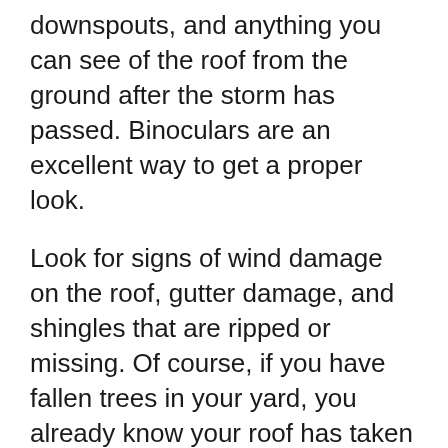downspouts, and anything you can see of the roof from the ground after the storm has passed. Binoculars are an excellent way to get a proper look.
Look for signs of wind damage on the roof, gutter damage, and shingles that are ripped or missing. Of course, if you have fallen trees in your yard, you already know your roof has taken a beating.
High winds can easily pull shingles away, exposing your roof’s underlayment to hazardous wetness. Check your yard and gutters for shingle fragments as well. Metal debris from your roof’s metal flashing or fascia, as well as around your chimney, may also be found.